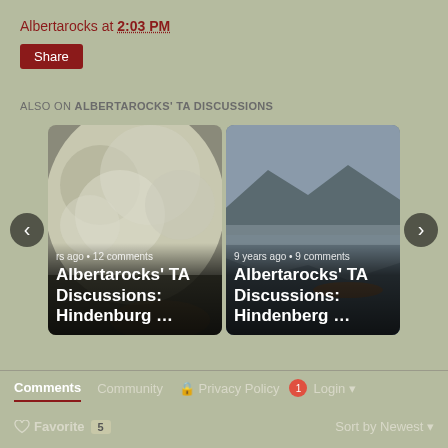Albertarocks at 2:03 PM
Share
ALSO ON ALBERTAROCKS' TA DISCUSSIONS
[Figure (photo): Two thumbnail cards showing Albertarocks TA Discussions: Hindenburg articles. Left card shows a close-up of fluffy plant/grass seeds. Right card shows a misty lake with mountains reflected. Each card has navigation arrows, metadata (years ago, comments count), and bold white title text.]
Comments  Community  Privacy Policy  1  Login
Favorite  5  Sort by Newest